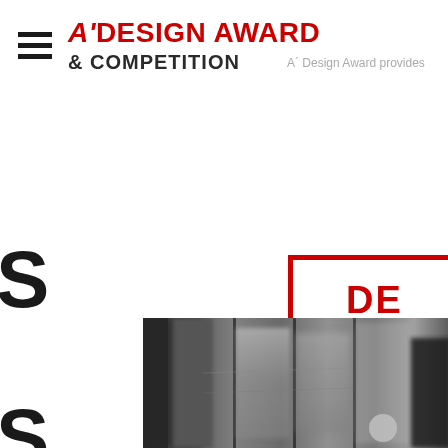[Figure (logo): A' Design Award & Competition logo with hamburger menu icon on the left. The logo shows three horizontal bars (hamburger icon) followed by the text 'A'DESIGN AWARD & COMPETITION' in red and dark gray bold fonts.]
A' Design Award provides
S
[Figure (other): Partially visible red-bordered rectangle containing bold red text 'DE' on first line and 'PI' on second line, cropped on the right side.]
[Figure (photo): Grayscale/black and white photograph showing what appears to be vertical columns or architectural elements with blurred background. A small circular gray element is visible in the lower right area.]
S